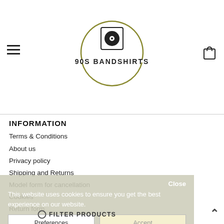[Figure (logo): 90s Bandshirts logo — circular logo with a vinyl record icon on top and stylized text '90S BANDSHIRTS' in the middle, olive/gold thin circle border]
INFORMATION
Terms & Conditions
About us
Privacy policy
Shipping and Returns
Model form for cancellation
Cookies
Return form
Complaints
MY ACCOUNT
My Account
This website uses cookies to ensure you get the best experience on our website.
Preferences | Accept
Close
FILTER PRODUCTS